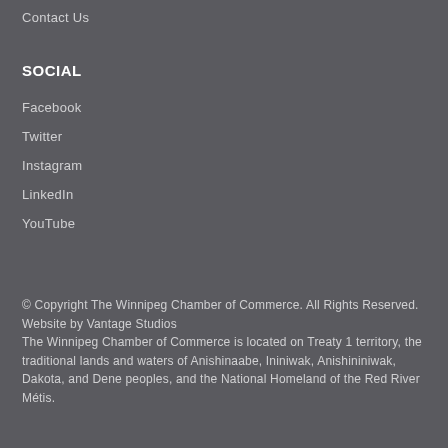Contact Us
SOCIAL
Facebook
Twitter
Instagram
LinkedIn
YouTube
© Copyright The Winnipeg Chamber of Commerce. All Rights Reserved. Website by Vantage Studios
The Winnipeg Chamber of Commerce is located on Treaty 1 territory, the traditional lands and waters of Anishinaabe, Ininiwak, Anishininiwak, Dakota, and Dene peoples, and the National Homeland of the Red River Métis.